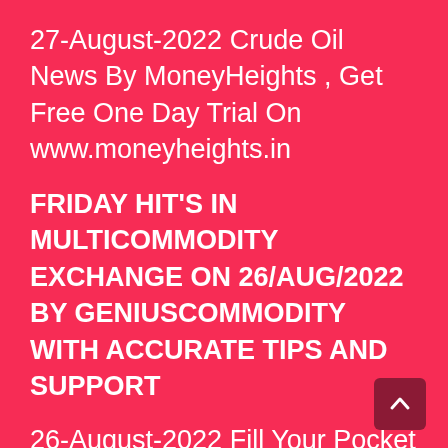27-August-2022 Crude Oil News By MoneyHeights , Get Free One Day Trial On www.moneyheights.in
FRIDAY HIT'S IN MULTICOMMODITY EXCHANGE ON 26/AUG/2022 BY GENIUSCOMMODITY WITH ACCURATE TIPS AND SUPPORT
26-August-2022 Fill Your Pocket With Profit By MoneyHeights Get More Profit Calls & free Trial Visit www.moneyheights.in
TODAY HIT'S IN MULTICOMMODITY EXCHANGE BASEMETALS BY GENIUSCOMMODITY WITH BEST TIPS AND